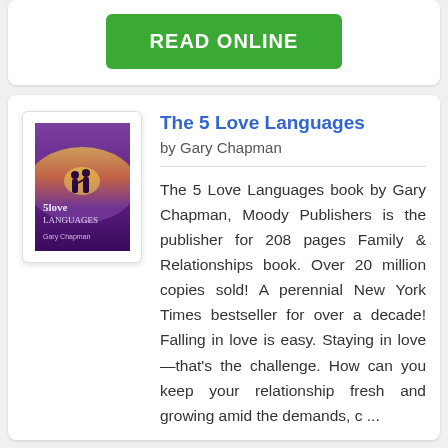[Figure (other): Green READ ONLINE button]
[Figure (illustration): Book cover of The 5 Love Languages by Gary Chapman with purple background and silhouette of couple]
The 5 Love Languages
by Gary Chapman
The 5 Love Languages book by Gary Chapman, Moody Publishers is the publisher for 208 pages Family & Relationships book. Over 20 million copies sold! A perennial New York Times bestseller for over a decade! Falling in love is easy. Staying in love—that's the challenge. How can you keep your relationship fresh and growing amid the demands, c ...